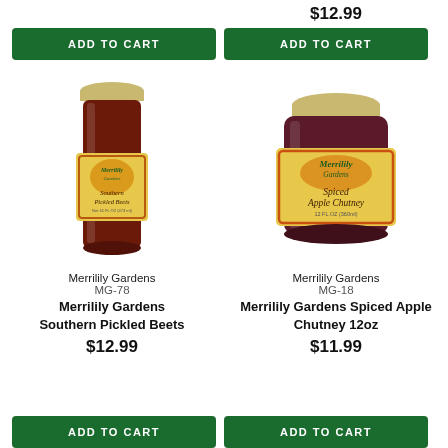$12.99
ADD TO CART
ADD TO CART
[Figure (photo): Jar of Merrilily Gardens Southern Pickled Beets with red label]
[Figure (photo): Jar of Merrilily Gardens Spiced Apple Chutney with red/yellow label]
Merrilily Gardens
MG-78
Merrilily Gardens Southern Pickled Beets
$12.99
Merrilily Gardens
MG-18
Merrilily Gardens Spiced Apple Chutney 12oz
$11.99
ADD TO CART
ADD TO CART